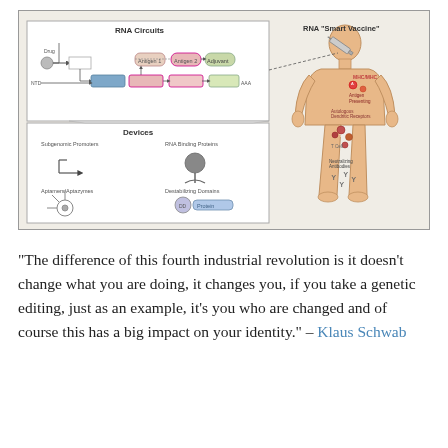[Figure (schematic): Scientific diagram showing RNA Circuits (with subgenomic promoters, RNA binding proteins, aptamers/aptazymes, destabilizing domains, and a circuit diagram) connected to an RNA 'Smart Vaccine' being injected into a human body silhouette showing antigen presentation, autologous dendritic receptors, T cells, and neutralizing antibodies.]
“The difference of this fourth industrial revolution is it doesn’t change what you are doing, it changes you, if you take a genetic editing, just as an example, it’s you who are changed and of course this has a big impact on your identity.” – Klaus Schwab